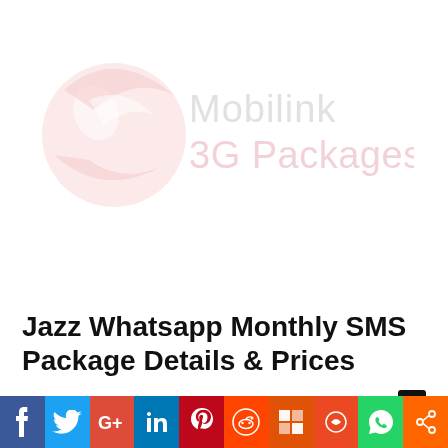[Figure (logo): Mobilink 3G Packages logo — red swoosh/globe icon on left, gray 'Mobilink' text and red '3G Packages' text on right, low opacity watermark style]
Jazz Whatsapp Monthly SMS Package Details & Prices
Team PointRaiser – July 19, 2019
For those who love texting round the clock or you text only when